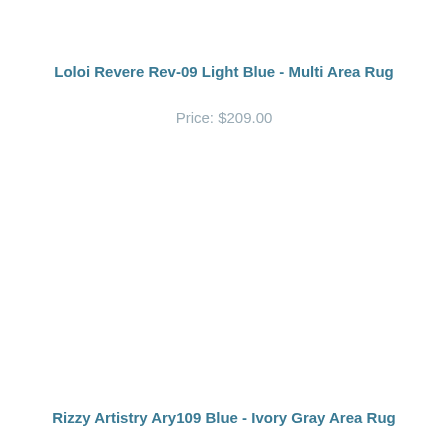Loloi Revere Rev-09 Light Blue - Multi Area Rug
Price: $209.00
Rizzy Artistry Ary109 Blue - Ivory Gray Area Rug